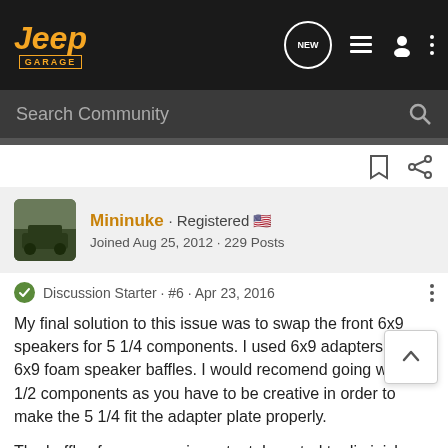Jeep Garage — Search Community navigation bar
Mininuke · Registered
Joined Aug 25, 2012 · 229 Posts
Discussion Starter · #6 · Apr 23, 2016
My final solution to this issue was to swap the front 6x9 speakers for 5 1/4 components. I used 6x9 adapters and 6x9 foam speaker baffles. I would recomend going with 6 1/2 components as you have to be creative in order to make the 5 1/4 fit the adapter plate properly.
The baffles for me were important. I wanted to diminish bass and also wanted to add a layer (gasket) between the adapter